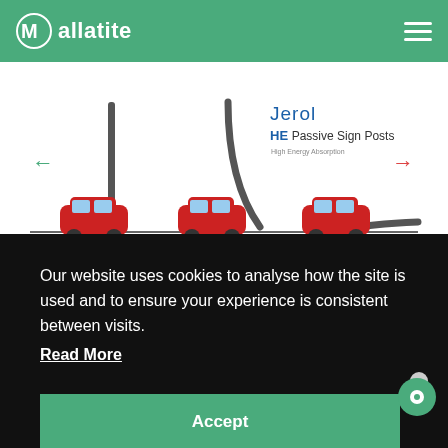Mallatite
[Figure (illustration): Diagram showing a Jerol HE Passive Sign Post — High Energy Absorption. Three sequential positions of a red car colliding with a grey post: post standing upright before impact, post bending on contact, post laid flat after impact. Green arrows on left and right. Jerol logo and product name displayed top-right.]
Our website uses cookies to analyse how the site is used and to ensure your experience is consistent between visits.
Read More
Accept
← Back to Range